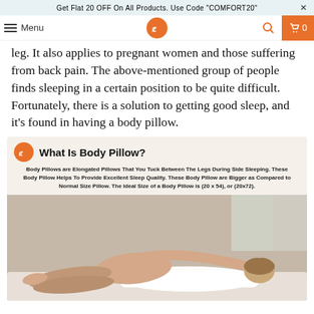Get Flat 20 OFF On All Products. Use Code "COMFORT20"
[Figure (screenshot): Navigation bar with hamburger menu, Menu text, orange circular logo with CB initials, search icon, and orange cart icon with 0 count]
leg. It also applies to pregnant women and those suffering from back pain. The above-mentioned group of people finds sleeping in a certain position to be quite difficult. Fortunately, there is a solution to getting good sleep, and it's found in having a body pillow.
[Figure (infographic): Infographic titled 'What Is Body Pillow?' with orange CB logo, descriptive text about body pillows being elongated pillows tucked between legs during side sleeping, providing excellent sleep quality, bigger than normal size pillows, ideal size 20x54 or 20x72. Background shows a woman lying on her side hugging a large white body pillow on a bed.]